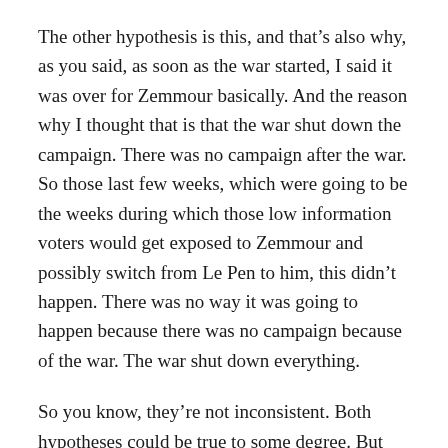The other hypothesis is this, and that's also why, as you said, as soon as the war started, I said it was over for Zemmour basically. And the reason why I thought that is that the war shut down the campaign. There was no campaign after the war. So those last few weeks, which were going to be the weeks during which those low information voters would get exposed to Zemmour and possibly switch from Le Pen to him, this didn't happen. There was no way it was going to happen because there was no campaign because of the war. The war shut down everything.
So you know, they're not inconsistent. Both hypotheses could be true to some degree. But the bottom line is we don't know what happened. Because there was no campaign, those guys, they stuck with who they knew, and who they knew was Le Pen. It's the same thing that